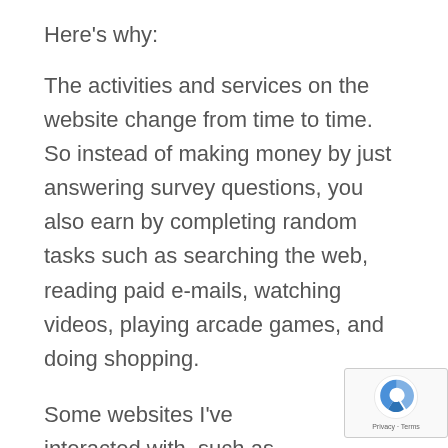Here's why:
The activities and services on the website change from time to time. So instead of making money by just answering survey questions, you also earn by completing random tasks such as searching the web, reading paid e-mails, watching videos, playing arcade games, and doing shopping.
Some websites I've interacted with, such as the Harris Poll Online, don't send you money for completing certain tasks. Instead, they let you redeem your cash points to gift cards that can use for shopping at big brands like